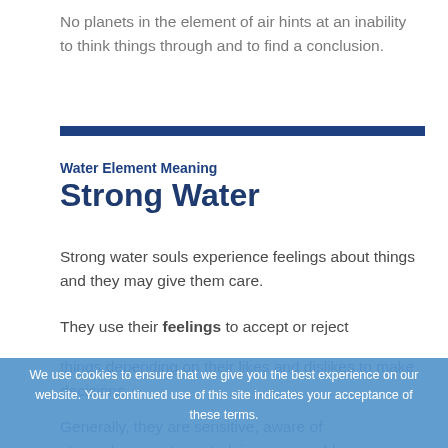No planets in the element of air hints at an inability to think things through and to find a conclusion.
Water Element Meaning
Strong Water
Strong water souls experience feelings about things and they may give them care.
They use their feelings to accept or reject things depending on their likes and dislikes to make decisions.
Generally, they are sensitive, aware of atmospheres, introverted, impressionable
We use cookies to ensure that we give you the best experience on our website. Your continued use of this site indicates your acceptance of these terms.